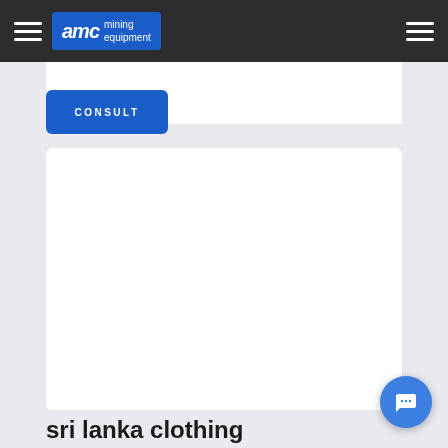[Figure (logo): AMC Mining Equipment logo with white AMC text on blue background and 'mining equipment' text in white]
CONSULT
[Figure (illustration): Large white card/content area (blank)]
sri lanka clothing